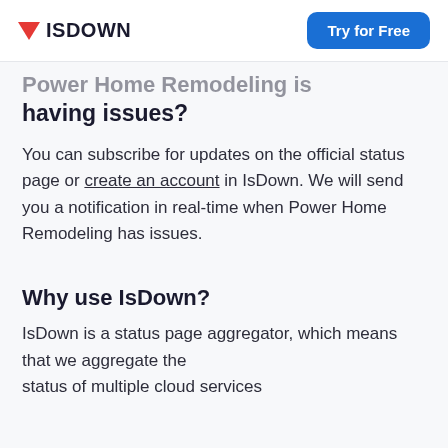ISDOWN | Try for Free
Power Home Remodeling is having issues?
You can subscribe for updates on the official status page or create an account in IsDown. We will send you a notification in real-time when Power Home Remodeling has issues.
Why use IsDown?
IsDown is a status page aggregator, which means that we aggregate the status of multiple cloud services...